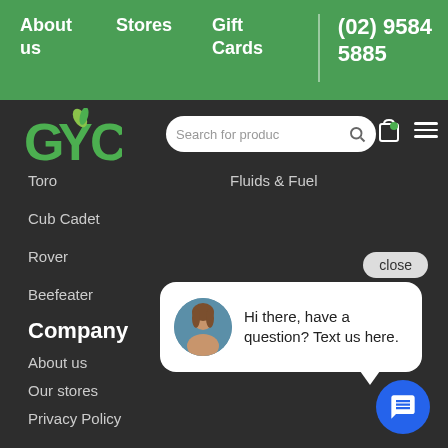About us  Stores  Gift Cards  (02) 9584 5885
[Figure (logo): GYC green logo with stylized letters G Y C and a green leaf]
Search for produc
Toro
Fluids & Fuel
Cub Cadet
Rover
Beefeater
Company
About us
Our stores
Privacy Policy
close
Hi there, have a question? Text us here.